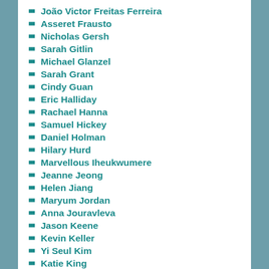João Victor Freitas Ferreira
Asseret Frausto
Nicholas Gersh
Sarah Gitlin
Michael Glanzel
Sarah Grant
Cindy Guan
Eric Halliday
Rachael Hanna
Samuel Hickey
Daniel Holman
Hilary Hurd
Marvellous Iheukwumere
Jeanne Jeong
Helen Jiang
Maryum Jordan
Anna Jouravleva
Jason Keene
Kevin Keller
Yi Seul Kim
Katie King